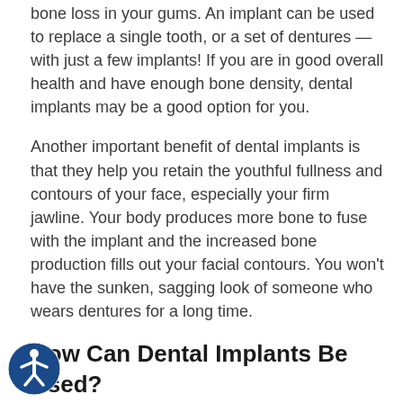bone loss in your gums. An implant can be used to replace a single tooth, or a set of dentures — with just a few implants! If you are in good overall health and have enough bone density, dental implants may be a good option for you.
Another important benefit of dental implants is that they help you retain the youthful fullness and contours of your face, especially your firm jawline. Your body produces more bone to fuse with the implant and the increased bone production fills out your facial contours. You won't have the sunken, sagging look of someone who wears dentures for a long time.
How Can Dental Implants Be Used?
Full Upper Replacement - The entire upper set of teeth is replaced with implants.
Full Lower Replacement - The entire lower set of teeth is replaced with implants.
Anterior Replacement - Implants are used to replace